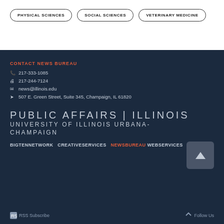PHYSICAL SCIENCES
SOCIAL SCIENCES
VETERINARY MEDICINE
CONTACT NEWS BUREAU
217-333-1085
217-244-7124
news@illinois.edu
507 E. Green Street, Suite 345, Champaign, IL 61820
PUBLIC AFFAIRS | ILLINOIS UNIVERSITY OF ILLINOIS URBANA-CHAMPAIGN
BIGTENNETWORK  CREATIVESERVICES  NEWSBUREAU  WEBSERVICES